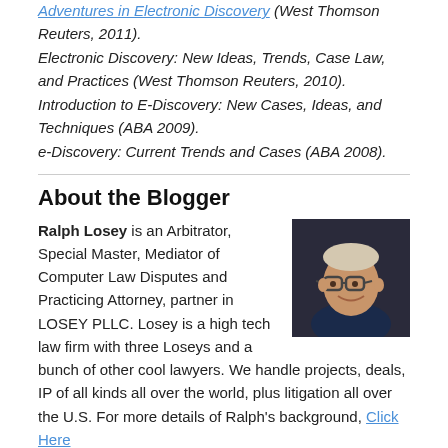Adventures in Electronic Discovery (West Thomson Reuters, 2011).
Electronic Discovery: New Ideas, Trends, Case Law, and Practices (West Thomson Reuters, 2010).
Introduction to E-Discovery: New Cases, Ideas, and Techniques (ABA 2009).
e-Discovery: Current Trends and Cases (ABA 2008).
About the Blogger
[Figure (photo): Photo of Ralph Losey, a man wearing glasses, smiling, dark shirt, against a dark background.]
Ralph Losey is an Arbitrator, Special Master, Mediator of Computer Law Disputes and Practicing Attorney, partner in LOSEY PLLC. Losey is a high tech law firm with three Loseys and a bunch of other cool lawyers. We handle projects, deals, IP of all kinds all over the world, plus litigation all over the U.S. For more details of Ralph's background, Click Here
All opinions expressed here are his own, and not those of his firm or clients. No legal advice is provided on this web and should not be construed as such.
Ralph is also a member of the e-discovery advisory board...